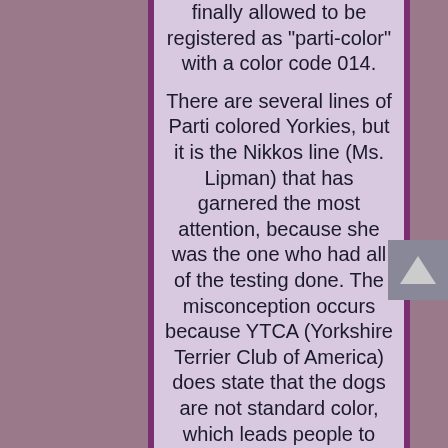finally allowed to be registered as "parti-color" with a color code 014.

There are several lines of Parti colored Yorkies, but it is the Nikkos line (Ms. Lipman) that has garnered the most attention, because she was the one who had all of the testing done. The misconception occurs because YTCA (Yorkshire Terrier Club of America) does state that the dogs are not standard color, which leads people to believe they can not be AKC registered. The AKC DOES NOT deny registration on color alone. Parti Yorkshire Terriers can be AKC registered as long as both parents are also AKC registered. In Oct of 2007, YTCA elected to add a disqualification to the Yorkshire Terrier standard, by stating that a dog of any co... combination of